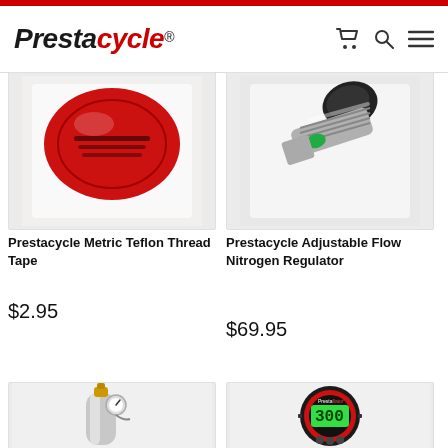Prestacycle® — shopping cart, search, menu
[Figure (photo): Prestacycle Metric Teflon Thread Tape product image — red round tin top view on white background]
Prestacycle Metric Teflon Thread Tape
$2.95
[Figure (photo): Prestacycle Adjustable Flow Nitrogen Regulator product image — metal threaded regulator fitting with green stripe on white background]
Prestacycle Adjustable Flow Nitrogen Regulator
$69.95
[Figure (photo): Small silver CO2 or nitrogen cylinder with brass valve regulator — partially cropped product image]
[Figure (photo): Prestaflator digital tire inflator gauge showing 300 on green LCD display — round black and red device]